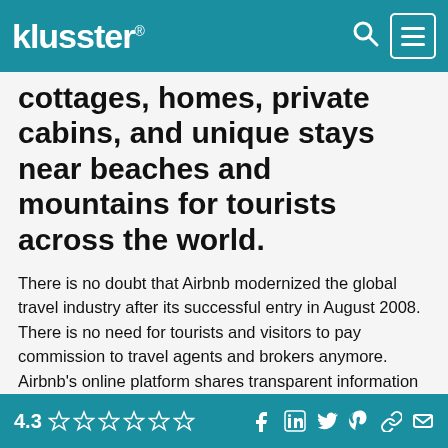klusster®
cottages, homes, private cabins, and unique stays near beaches and mountains for tourists across the world.
There is no doubt that Airbnb modernized the global travel industry after its successful entry in August 2008. There is no need for tourists and visitors to pay commission to travel agents and brokers anymore. Airbnb's online platform shares transparent information about beach houses, cabins, cottages, and homes available for rent across the world.
All the properties are well-maintained by experienced
4.3 ★★★★☆